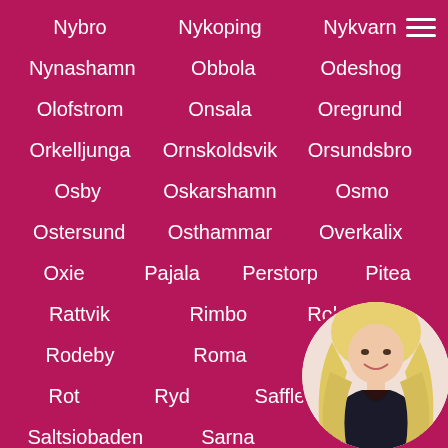Nybro
Nykoping
Nykvarn
Nynashamn
Obbola
Odeshog
Olofstrom
Onsala
Oregrund
Orkelljunga
Ornskoldsvik
Orsundsbro
Osby
Oskarshamn
Osmo
Ostersund
Osthammar
Overkalix
Oxie
Pajala
Perstorp
Pitea
Rattvik
Rimbo
Robertsfors
Rodeby
Roma
Romme
Rot
Ryd
Saffle
Sa...
Saltsiobaden
Sarna
Sater
[Figure (photo): Circular photo of a blonde woman in a black outfit, positioned in the lower right corner]